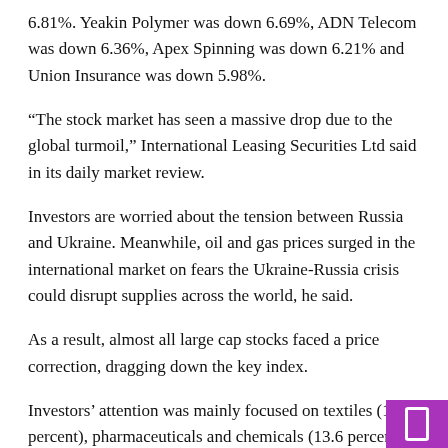6.81%. Yeakin Polymer was down 6.69%, ADN Telecom was down 6.36%, Apex Spinning was down 6.21% and Union Insurance was down 5.98%.
“The stock market has seen a massive drop due to the global turmoil,” International Leasing Securities Ltd said in its daily market review.
Investors are worried about the tension between Russia and Ukraine. Meanwhile, oil and gas prices surged in the international market on fears the Ukraine-Russia crisis could disrupt supplies across the world, he said.
As a result, almost all large cap stocks faced a price correction, dragging down the key index.
Investors’ attention was mainly focused on textiles (18.5 percent), pharmaceuticals and chemicals (13.6 percent) and miscellaneous (12.6 percent).
The Chittagong Stock Exchange also collapsed. The Caspi, the port